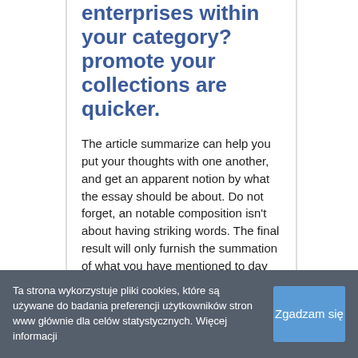enterprises within your category? promote your collections are quicker.
The article summarize can help you put your thoughts with one another, and get an apparent notion by what the essay should be about. Do not forget, an notable composition isn't about having striking words. The final result will only furnish the summation of what you have mentioned to day within the essay. That is all
Ta strona wykorzystuje pliki cookies, które są używane do badania preferencji użytkowników stron www głównie dla celów statystycznych. Więcej informacji